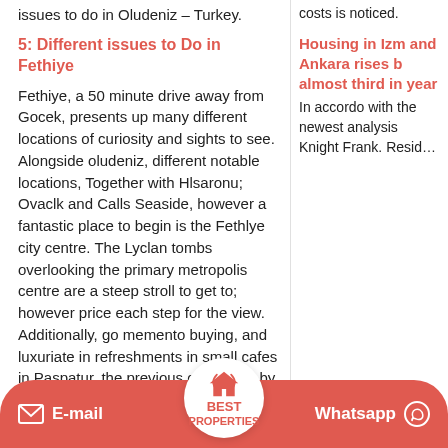issues to do in Oludeniz – Turkey.
5: Different issues to Do in Fethiye
Fethiye, a 50 minute drive away from Gocek, presents up many different locations of curiosity and sights to see. Alongside oludeniz, different notable locations, Together with Hlsaronu; Ovaclk and Calls Seaside, however a fantastic place to begin is the Fethlye city centre. The Lyclan tombs overlooking the primary metropolis centre are a steep stroll to get to; however price each step for the view. Additionally, go memento buying, and luxuriate in refreshments in small cafes in Paspatur, the previous city. Close by on the harbour, the amphltheatre displays go… museum will impress. Athe… favorite place is Kayakov ghost village, a
costs is noticed.
Housing in Izm and Ankara rises b almost third in year
In accordo with the newest analysis Knight Frank. Resid…